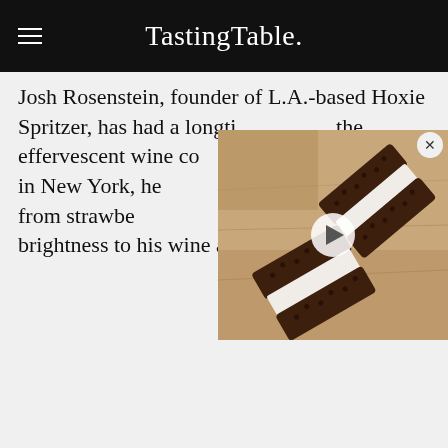TastingTable.
Josh Rosenstein, founder of L.A.-based Hoxie Spritzer, has had a longtime love of the effervescent wine cocktail. Working as a cook in New York, he began adding everything from strawberry tops to herbs to add brightness to his wine and soda water.
[Figure (photo): Video thumbnail showing chocolate ice cream sandwiches on a wooden surface, with a play button overlay]